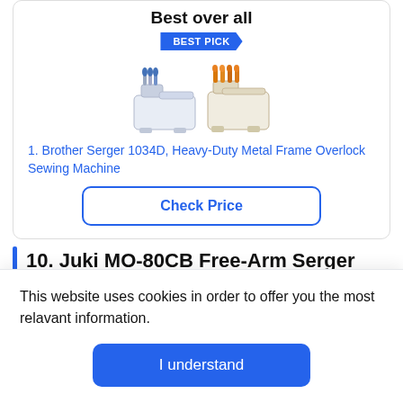Best over all
[Figure (photo): BEST PICK badge and product photo of two serger/overlock sewing machines]
1. Brother Serger 1034D, Heavy-Duty Metal Frame Overlock Sewing Machine
Check Price
10. Juki MO-80CB Free-Arm Serger Overlock Machine
Best for... (partially visible)
This website uses cookies in order to offer you the most relavant information.
I understand